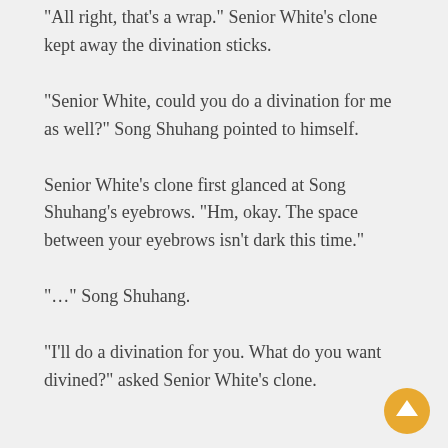“All right, that’s a wrap.” Senior White’s clone kept away the divination sticks.
“Senior White, could you do a divination for me as well?” Song Shuhang pointed to himself.
Senior White’s clone first glanced at Song Shuhang’s eyebrows. “Hm, okay. The space between your eyebrows isn’t dark this time.”
“…” Song Shuhang.
“I’ll do a divination for you. What do you want divined?” asked Senior White’s clone.
[Figure (other): Gold circular scroll-up button with white arrow icon in bottom-right corner]